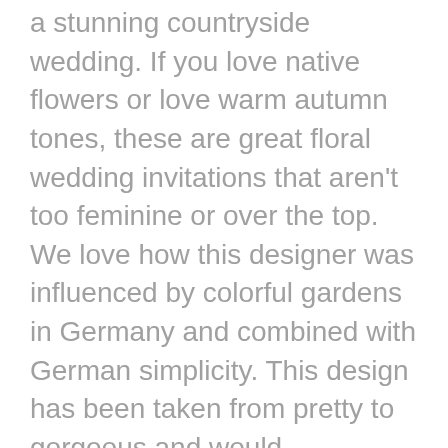a stunning countryside wedding. If you love native flowers or love warm autumn tones, these are great floral wedding invitations that aren't too feminine or over the top. We love how this designer was influenced by colorful gardens in Germany and combined with German simplicity. This design has been taken from pretty to gorgeous and would complement those planning a clean floral ceremony.
Based on delicate lines of script and illustration, this design also captures the color palette of modern marble. It is perfect for an elegant couple who like to keep it simple and classy. This invite works for traditional and modern weddings – or love celebrations that are a mix of the two. Whichever way you choose to style your